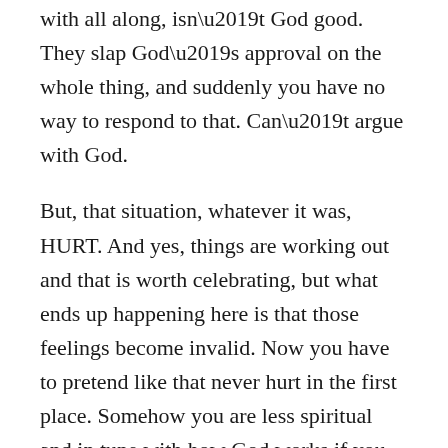with all along, isn't God good.  They slap God's approval on the whole thing, and suddenly you have no way to respond to that. Can't argue with God.
But, that situation, whatever it was, HURT. And yes, things are working out and that is worth celebrating, but what ends up happening here is that those feelings become invalid. Now you have to pretend like that never hurt in the first place. Somehow you are less spiritual and in tune with how God works if you continue to name the pain and call it what it is.
But to truly heal (and to be fully human) you have to be able to say: “that hurt.” And if even something beautiful comes on the other end of it, it is all the more beautiful because it was born out of pain. But that thing was still painful—it doesn’t just disappear.